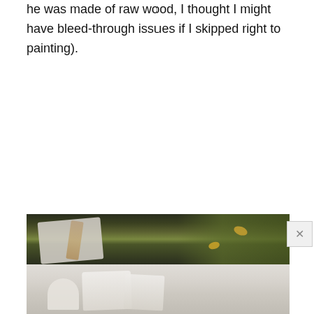he was made of raw wood, I thought I might have bleed-through issues if I skipped right to painting).
[Figure (photo): Two-part photo: top half shows a white wooden object being painted with a bristle brush outdoors on grass with fallen leaves in the background; bottom half shows close-up of white painted wooden pieces on a light surface.]